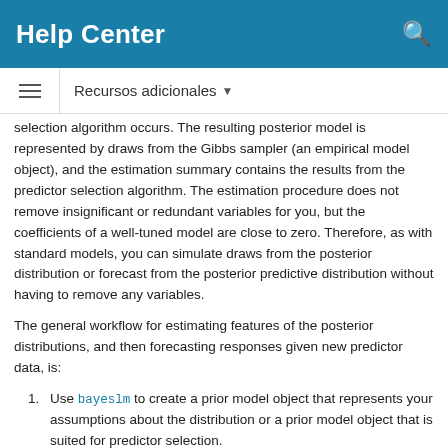Help Center
Recursos adicionales
selection algorithm occurs. The resulting posterior model is represented by draws from the Gibbs sampler (an empirical model object), and the estimation summary contains the results from the predictor selection algorithm. The estimation procedure does not remove insignificant or redundant variables for you, but the coefficients of a well-tuned model are close to zero. Therefore, as with standard models, you can simulate draws from the posterior distribution or forecast from the posterior predictive distribution without having to remove any variables.
The general workflow for estimating features of the posterior distributions, and then forecasting responses given new predictor data, is:
Use bayeslm to create a prior model object that represents your assumptions about the distribution or a prior model object that is suited for predictor selection.
Pass the prior model object and the predictor and response data to the estimate function. By default, estimate